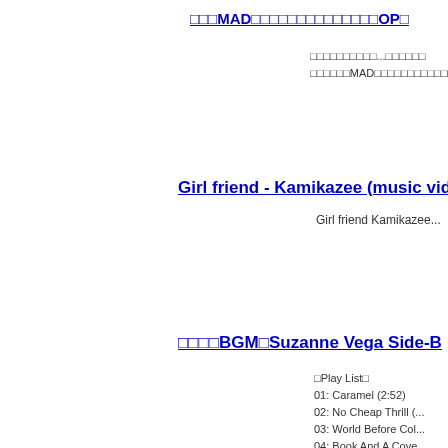□□□MAD□□□□□□□□□□□□□□OP□
□□□□□□□□□□...□□□□□□
□□□□□□MAD□□□□□□□□□□□□
Girl friend - Kamikazee (music vide...
Girl friend Kamikazee...
□□□□BGM□Suzanne Vega Side-B
□Play List□
01: Caramel (2:52)
02: No Cheap Thrill (...
03: World Before Col...
04: Book And A Cove...
05: Rosemary (2:42)